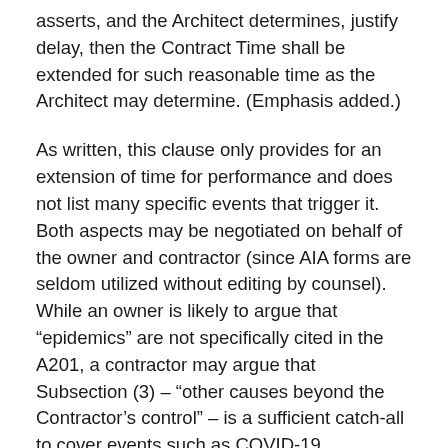asserts, and the Architect determines, justify delay, then the Contract Time shall be extended for such reasonable time as the Architect may determine. (Emphasis added.)
As written, this clause only provides for an extension of time for performance and does not list many specific events that trigger it. Both aspects may be negotiated on behalf of the owner and contractor (since AIA forms are seldom utilized without editing by counsel). While an owner is likely to argue that “epidemics” are not specifically cited in the A201, a contractor may argue that Subsection (3) – “other causes beyond the Contractor’s control” – is a sufficient catch-all to cover events such as COVID-19.